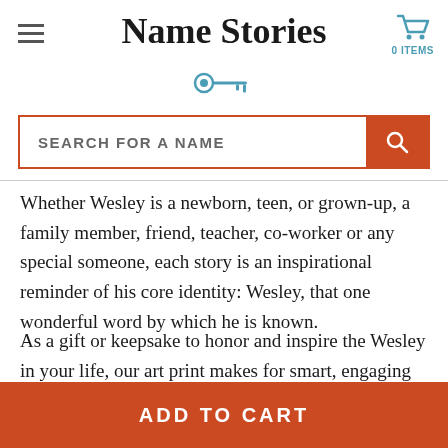Name Stories
[Figure (other): Teal key icon decorative element below site title]
SEARCH FOR A NAME
Whether Wesley is a newborn, teen, or grown-up, a family member, friend, teacher, co-worker or any special someone, each story is an inspirational reminder of his core identity: Wesley, that one wonderful word by which he is known.
As a gift or keepsake to honor and inspire the Wesley in your life, our art print makes for smart, engaging and distinctive décor. Combining typography with artistic expression, our original content is a result of years of rigorous research and carefully curating of history. Every story really tells all
ADD TO CART